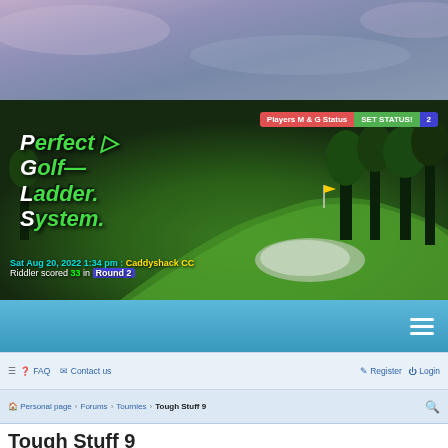[Figure (screenshot): Top atmospheric sky background — purple/grey gradient]
[Figure (screenshot): Perfect Golf Ladder System banner showing aerial view of golf course with green fairways and trees. Status bar showing 'Players M & G Status', 'SET STATUS!', '2'. Logo text 'Perfect Golf Ladder System'. Date: Sat Aug 20, 2022 1:34 pm : Caddyshack CC. Riddler scored 33 in Round 2.]
[Figure (screenshot): Blue navigation bar with hamburger menu icon on right]
≡  FAQ  Contact us    Register  Login
Personal page › Forums › Tournies › Tough Stuff 9
Tough Stuff 9